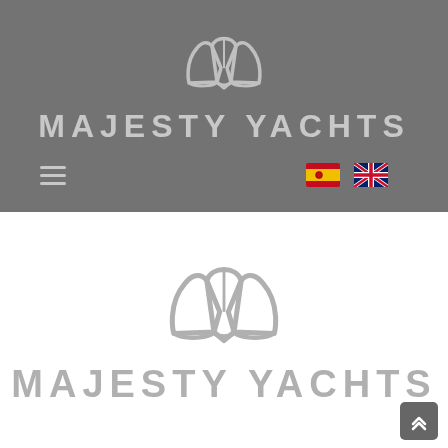[Figure (logo): Majesty Yachts logo icon (wing/crown shape) on dark grey background]
MAJESTY YACHTS
[Figure (infographic): Navigation bar with hamburger menu icon, Spanish flag, and UK flag]
[Figure (logo): Majesty Yachts logo icon (wing/crown shape) on white background, larger version in grey]
MAJESTY YACHTS